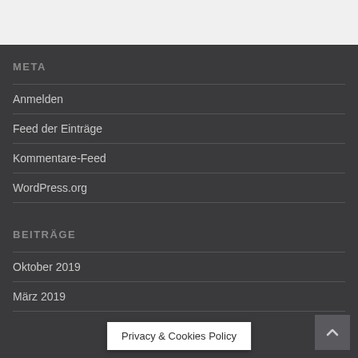META
Anmelden
Feed der Einträge
Kommentare-Feed
WordPress.org
BEITRÄGE
Oktober 2019
März 2019
Privacy & Cookies Policy